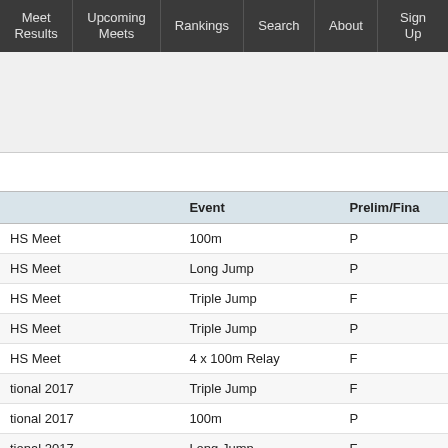Meet Results | Upcoming Meets | Rankings | Search | About | Sign Up
|  | Event | Prelim/Fina |
| --- | --- | --- |
| HS Meet | 100m | P |
| HS Meet | Long Jump | P |
| HS Meet | Triple Jump | F |
| HS Meet | Triple Jump | P |
| HS Meet | 4 x 100m Relay | F |
| tional 2017 | Triple Jump | F |
| tional 2017 | 100m | P |
| tional 2017 | Long Jump | F |
| TL | Triple Jump | F |
| TL | Long Jump | F |
| TL | 4 x 100 yd Relay | F |